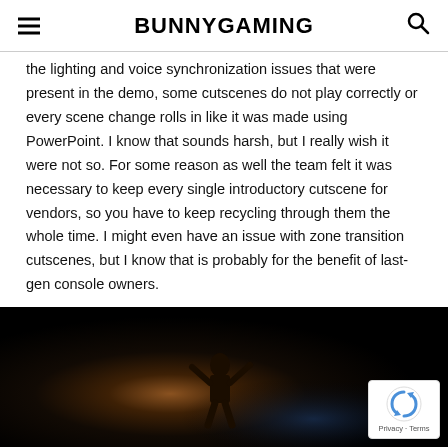BUNNYGAMING
the lighting and voice synchronization issues that were present in the demo, some cutscenes do not play correctly or every scene change rolls in like it was made using PowerPoint. I know that sounds harsh, but I really wish it were not so. For some reason as well the team felt it was necessary to keep every single introductory cutscene for vendors, so you have to keep recycling through them the whole time. I might even have an issue with zone transition cutscenes, but I know that is probably for the benefit of last-gen console owners.
[Figure (photo): Dark screenshot from a game showing a character silhouette with dramatic lighting in a dark environment. A reCAPTCHA badge is visible in the bottom-right corner with Privacy and Terms text.]